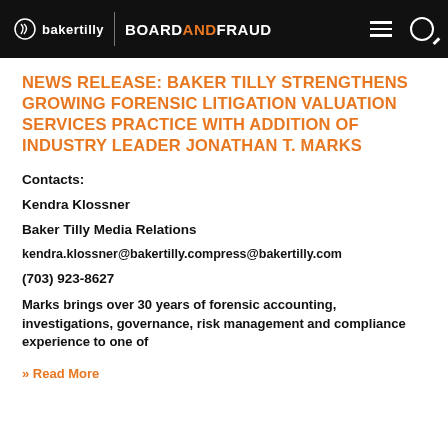bakertilly | BOARD AND FRAUD
NEWS RELEASE: BAKER TILLY STRENGTHENS GROWING FORENSIC LITIGATION VALUATION SERVICES PRACTICE WITH ADDITION OF INDUSTRY LEADER JONATHAN T. MARKS
Contacts:
Kendra Klossner
Baker Tilly Media Relations
kendra.klossner@bakertilly.compress@bakertilly.com
(703) 923-8627
Marks brings over 30 years of forensic accounting, investigations, governance, risk management and compliance experience to one of
» Read More